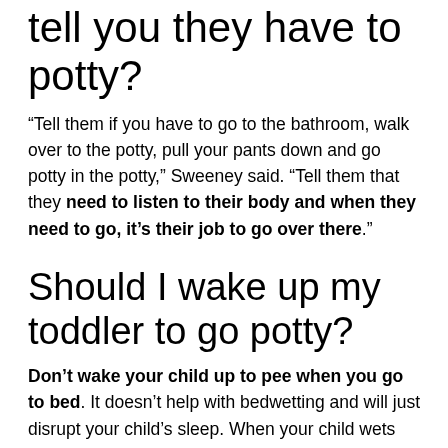tell you they have to potty?
“Tell them if you have to go to the bathroom, walk over to the potty, pull your pants down and go potty in the potty,” Sweeney said. “Tell them that they need to listen to their body and when they need to go, it’s their job to go over there.”
Should I wake up my toddler to go potty?
Don’t wake your child up to pee when you go to bed. It doesn’t help with bedwetting and will just disrupt your child’s sleep. When your child wets the bed, help them wash well in the morning so that there